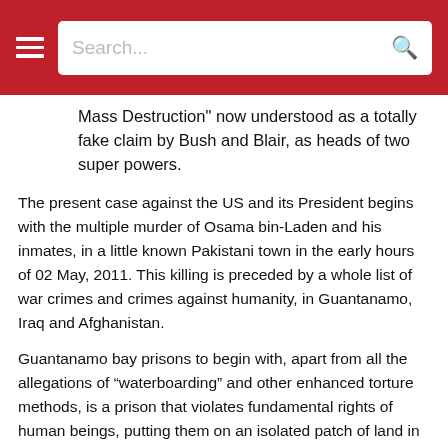Search...
Mass Destruction" now understood as a totally fake claim by Bush and Blair, as heads of two super powers.
The present case against the US and its President begins with the multiple murder of Osama bin-Laden and his inmates, in a little known Pakistani town in the early hours of 02 May, 2011. This killing is preceded by a whole list of war crimes and crimes against humanity, in Guantanamo, Iraq and Afghanistan.
Guantanamo bay prisons to begin with, apart from all the allegations of “waterboarding” and other enhanced torture methods, is a prison that violates fundamental rights of human beings, putting them on an isolated patch of land in an island, to circumvent international laws on detention and to hold people without trial.
Guantanamo now has enough evidence, for any independent, international investigation.